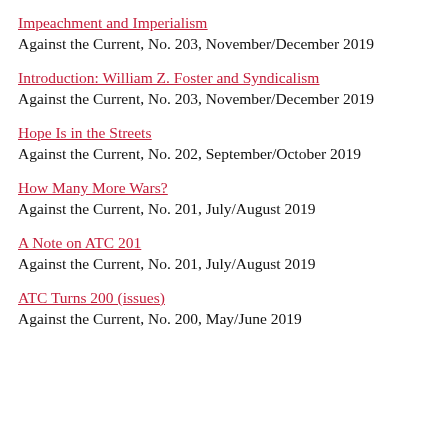Impeachment and Imperialism
Against the Current, No. 203, November/December 2019
Introduction: William Z. Foster and Syndicalism
Against the Current, No. 203, November/December 2019
Hope Is in the Streets
Against the Current, No. 202, September/October 2019
How Many More Wars?
Against the Current, No. 201, July/August 2019
A Note on ATC 201
Against the Current, No. 201, July/August 2019
ATC Turns 200 (issues)
Against the Current, No. 200, May/June 2019